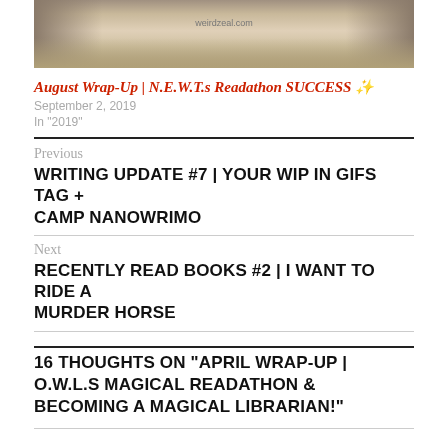[Figure (photo): Open book photo with weirdzeal.com watermark]
August Wrap-Up | N.E.W.T.s Readathon SUCCESS ✨
September 2, 2019
In "2019"
Previous
WRITING UPDATE #7 | YOUR WIP IN GIFS TAG + CAMP NANOWRIMO
Next
RECENTLY READ BOOKS #2 | I WANT TO RIDE A MURDER HORSE
16 THOUGHTS ON "APRIL WRAP-UP | O.W.L.S MAGICAL READATHON & BECOMING A MAGICAL LIBRARIAN!"